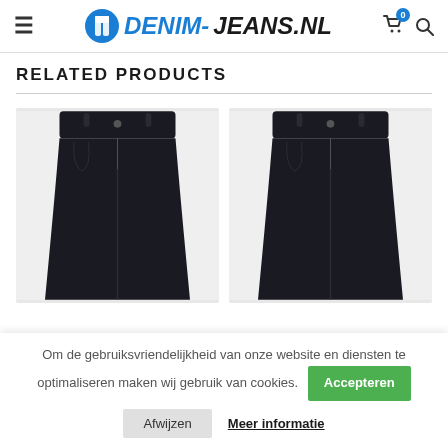DENIM-JEANS.NL
RELATED PRODUCTS
[Figure (photo): Two black denim jeans displayed side by side on a light grey background]
Om de gebruiksvriendelijkheid van onze website en diensten te optimaliseren maken wij gebruik van cookies.
Afwijzen
Accepteren
Meer informatie